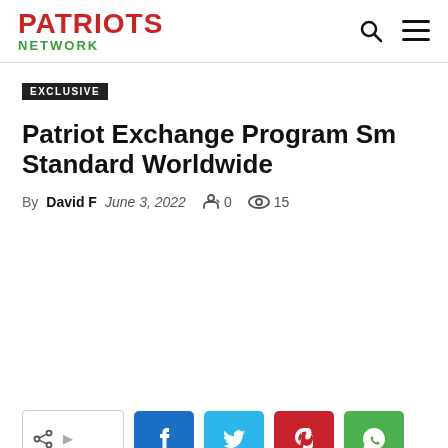PATRIOTS NETWORK
EXCLUSIVE
Patriot Exchange Program Sm Standard Worldwide
By David F  June 3, 2022  0  15
[Figure (infographic): Social sharing buttons row: share toggle, Facebook, Twitter, Pinterest, WhatsApp]